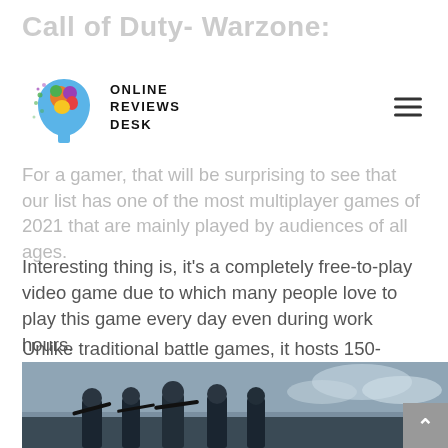Call of Duty- Warzone:
[Figure (logo): Online Reviews Desk logo — colorful brain/head silhouette with dots, beside bold text reading ONLINE REVIEWS DESK]
For a gamer, that will be surprising to see that our list has one of the most multiplayer games of 2021 that are mainly played by audiences of all ages.
Interesting thing is, it's a completely free-to-play video game due to which many people love to play this game every day even during work hours.
Unlike traditional battle games, it hosts 150-player battle royale matches. Therefore, it gets extremely challenging for gamers to earn the victory and defeat the other 149 players.
[Figure (photo): Screenshot from Call of Duty Warzone showing armed soldiers/characters grouped together against a cloudy sky background]